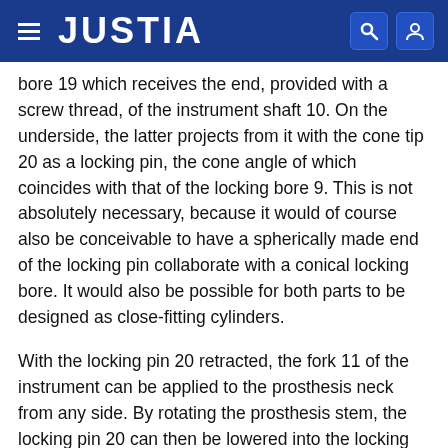JUSTIA
bore 19 which receives the end, provided with a screw thread, of the instrument shaft 10. On the underside, the latter projects from it with the cone tip 20 as a locking pin, the cone angle of which coincides with that of the locking bore 9. This is not absolutely necessary, because it would of course also be conceivable to have a spherically made end of the locking pin collaborate with a conical locking bore. It would also be possible for both parts to be designed as close-fitting cylinders.
With the locking pin 20 retracted, the fork 11 of the instrument can be applied to the prosthesis neck from any side. By rotating the prosthesis stem, the locking pin 20 can then be lowered into the locking bore 9, play-free seating being obtained by vigorous tightening of the screw thread, and this also allows delicate manipulation of the prosthesis. At this stage, the medially